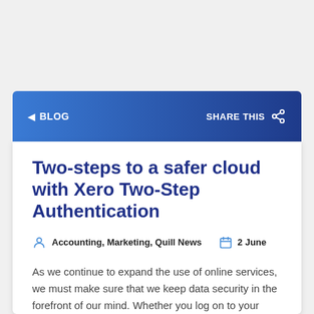◄ BLOG    SHARE THIS
Two-steps to a safer cloud with Xero Two-Step Authentication
Accounting, Marketing, Quill News    2 June
As we continue to expand the use of online services, we must make sure that we keep data security in the forefront of our mind.  Whether you log on to your